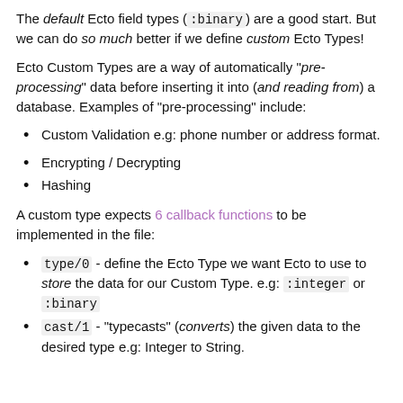The default Ecto field types (:binary) are a good start. But we can do so much better if we define custom Ecto Types!
Ecto Custom Types are a way of automatically "pre-processing" data before inserting it into (and reading from) a database. Examples of "pre-processing" include:
Custom Validation e.g: phone number or address format.
Encrypting / Decrypting
Hashing
A custom type expects 6 callback functions to be implemented in the file:
type/0 - define the Ecto Type we want Ecto to use to store the data for our Custom Type. e.g: :integer or :binary
cast/1 - "typecasts" (converts) the given data to the desired type e.g: Integer to String.